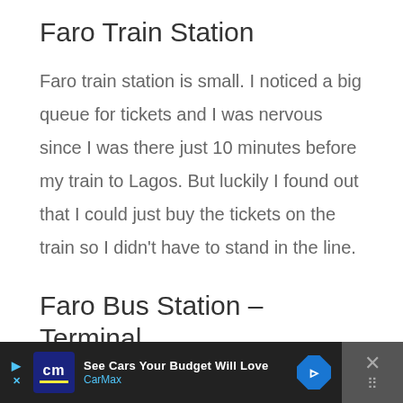Faro Train Station
Faro train station is small. I noticed a big queue for tickets and I was nervous since I was there just 10 minutes before my train to Lagos. But luckily I found out that I could just buy the tickets on the train so I didn't have to stand in the line.
Faro Bus Station – Terminal